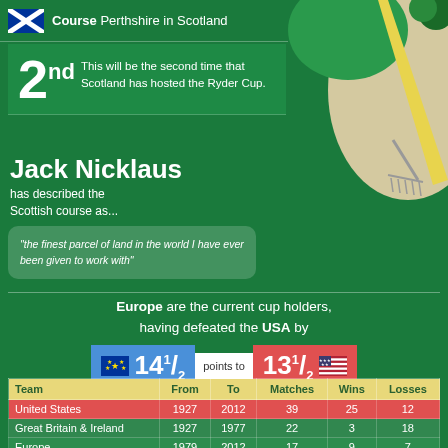[Figure (infographic): Scotland flag (St Andrew's cross, blue with white diagonal cross) icon on green background]
Course Perthshire in Scotland
[Figure (illustration): Aerial view illustration of a golf course hole with sand bunker, green, and a rake]
2nd This will be the second time that Scotland has hosted the Ryder Cup.
Jack Nicklaus has described the Scottish course as...
"the finest parcel of land in the world I have ever been given to work with"
Europe are the current cup holders, having defeated the USA by 14½ points to 13½ in 2012
| Team | From | To | Matches | Wins | Losses |
| --- | --- | --- | --- | --- | --- |
| United States | 1927 | 2012 | 39 | 25 | 12 |
| Great Britain & Ireland | 1927 | 1977 | 22 | 3 | 18 |
| Europe | 1979 | 2012 | 17 | 9 | 7 |